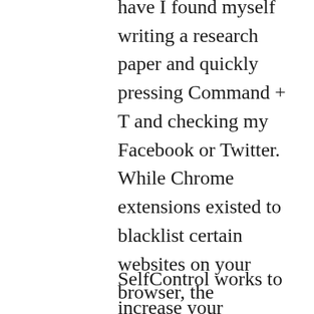have I found myself writing a research paper and quickly pressing Command + T and checking my Facebook or Twitter. While Chrome extensions existed to blacklist certain websites on your browser, the loopholes around them were too easy for me to avoid. It was not until I learned about SelfControl that I was able to force myself to get off of social media.
SelfControl works to increase your productivity by letting